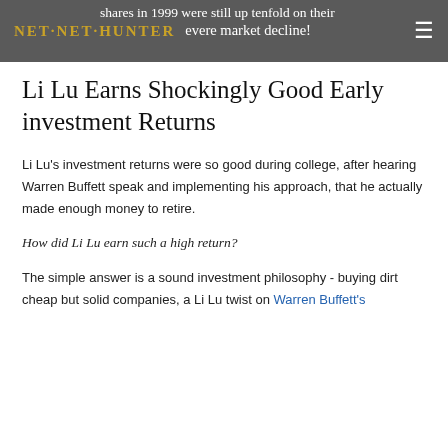NET NET HUNTER  shares in 1999 were still up tenfold on their investment, even in a severe market decline!
Li Lu Earns Shockingly Good Early investment Returns
Li Lu's investment returns were so good during college, after hearing Warren Buffett speak and implementing his approach, that he actually made enough money to retire.
How did Li Lu earn such a high return?
The simple answer is a sound investment philosophy - buying dirt cheap but solid companies, a Li Lu twist on Warren Buffett's